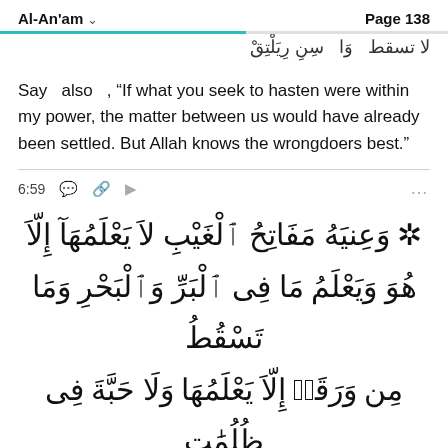Al-An'am   Page 138
Say  also  , "If what you seek to hasten were within my power, the matter between us would have already been settled. But Allah knows the wrongdoers best."
6:59
[Figure (other): Arabic Quran verse 6:59: وَعِندَهُۥ مَفَاتِحُ ٱلْغَيْبِ لَا يَعْلَمُهَآ إِلَّا هُوَۚ وَيَعْلَمُ مَا فِى ٱلْبَرِّ وَٱلْبَحْرِۚ وَمَا تَسْقُطُ مِن وَرَقَةٍ إِلَّا يَعْلَمُهَا وَلَا حَبَّةٍ فِى ظُلُمَٰتِ]